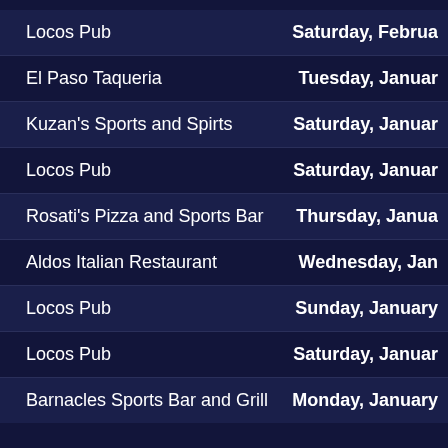Locos Pub | Saturday, Februa
El Paso Taqueria | Tuesday, Januar
Kuzan's Sports and Spirts | Saturday, Januar
Locos Pub | Saturday, Januar
Rosati's Pizza and Sports Bar | Thursday, Janua
Aldos Italian Restaurant | Wednesday, Jan
Locos Pub | Sunday, January
Locos Pub | Saturday, Januar
Barnacles Sports Bar and Grill | Monday, January